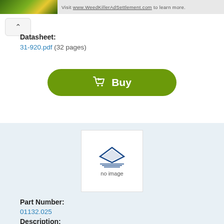Visit www.WeedKillerAdSettlement.com to learn more.
Datasheet:
31-920.pdf  (32 pages)
[Figure (other): Green Buy button with shopping cart icon]
[Figure (logo): EAO logo placeholder with 'no image' text]
Part Number:
01132.025
Description:
Manufacturer:
EAO